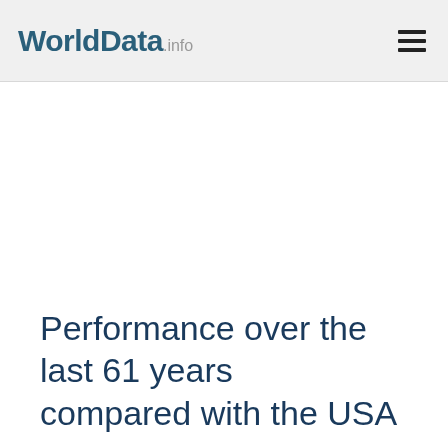WorldData.info
Performance over the last 61 years compared with the USA